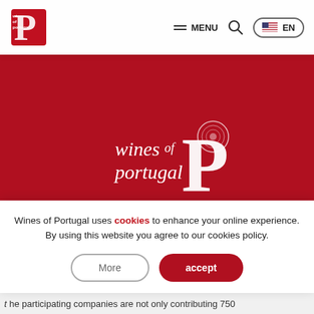Wines of Portugal — MENU | Search | EN
[Figure (logo): Wines of Portugal logo — white text 'wines of portugal' with decorative P letterform on dark red background]
Wines of Portugal uses cookies to enhance your online experience. By using this website you agree to our cookies policy.
More | accept
the participating companies are not only contributing 750